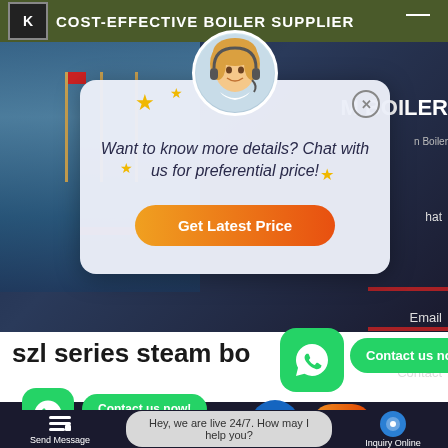COST-EFFECTIVE BOILER SUPPLIER
[Figure (screenshot): Website screenshot showing a boiler supplier company page with a chat popup dialog. The popup shows a female customer service agent avatar with stars decoration, text 'Want to know more details? Chat with us for preferential price!' and an orange 'Get Latest Price' button. Background shows a building with flags. Bottom section shows 'szl series steam boiler' text with WhatsApp contact buttons and 'Contact us now!' bubbles.]
Want to know more details? Chat with us for preferential price!
Get Latest Price
szl series steam boiler
Contact us now!
Contact us now!
Send Message   Hey, we are live 24/7. How may I help you?   Inquiry Online